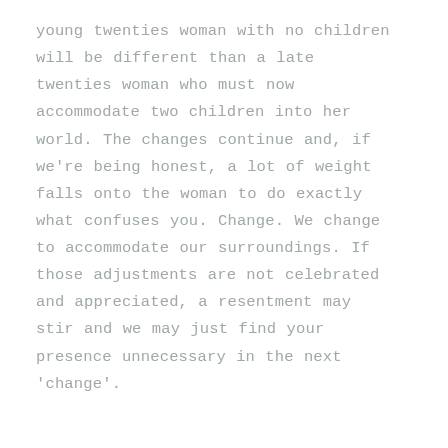young twenties woman with no children will be different than a late twenties woman who must now accommodate two children into her world. The changes continue and, if we're being honest, a lot of weight falls onto the woman to do exactly what confuses you. Change. We change to accommodate our surroundings. If those adjustments are not celebrated and appreciated, a resentment may stir and we may just find your presence unnecessary in the next 'change'.